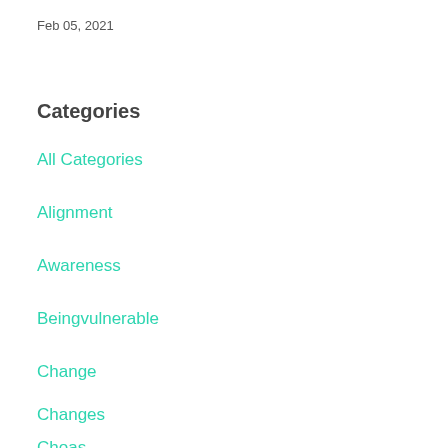Feb 05, 2021
Categories
All Categories
Alignment
Awareness
Beingvulnerable
Change
Changes
Choas